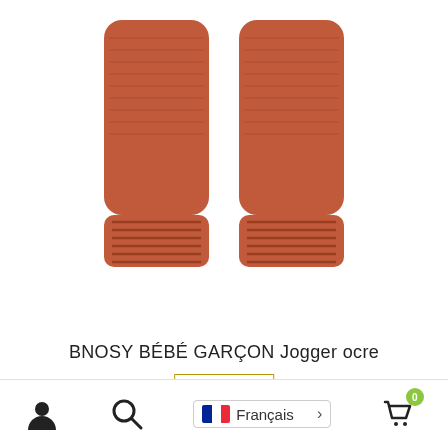[Figure (photo): Orange/rust colored baby jogger pants legs, showing ribbed cuffs at the bottom, cropped view on white background]
BNOSY BÉBÉ GARÇON Jogger ocre
PROMO !
ℹ Merci du fond du cœur de nous encourager. Expédition gratuite avec tout achat de 150.00$ avant tx
Ignorer
Français